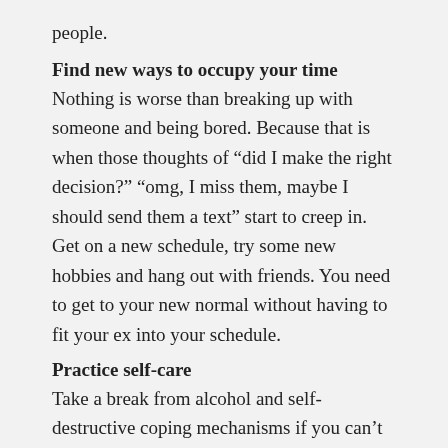people.
Find new ways to occupy your time
Nothing is worse than breaking up with someone and being bored. Because that is when those thoughts of “did I make the right decision?” “omg, I miss them, maybe I should send them a text” start to creep in. Get on a new schedule, try some new hobbies and hang out with friends. You need to get to your new normal without having to fit your ex into your schedule.
Practice self-care
Take a break from alcohol and self-destructive coping mechanisms if you can’t